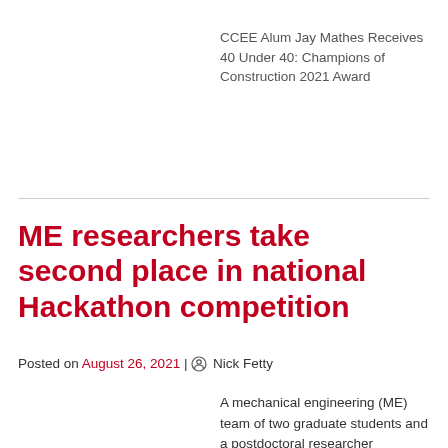CCEE Alum Jay Mathes Receives 40 Under 40: Champions of Construction 2021 Award
ME researchers take second place in national Hackathon competition
Posted on August 26, 2021 | Nick Fetty
A mechanical engineering (ME) team of two graduate students and a postdoctoral researcher